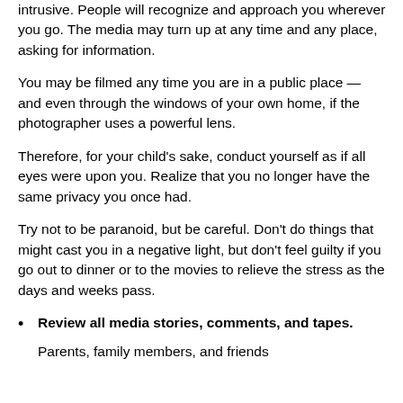intrusive. People will recognize and approach you wherever you go. The media may turn up at any time and any place, asking for information.
You may be filmed any time you are in a public place — and even through the windows of your own home, if the photographer uses a powerful lens.
Therefore, for your child's sake, conduct yourself as if all eyes were upon you. Realize that you no longer have the same privacy you once had.
Try not to be paranoid, but be careful. Don't do things that might cast you in a negative light, but don't feel guilty if you go out to dinner or to the movies to relieve the stress as the days and weeks pass.
Review all media stories, comments, and tapes.
Parents, family members, and friends